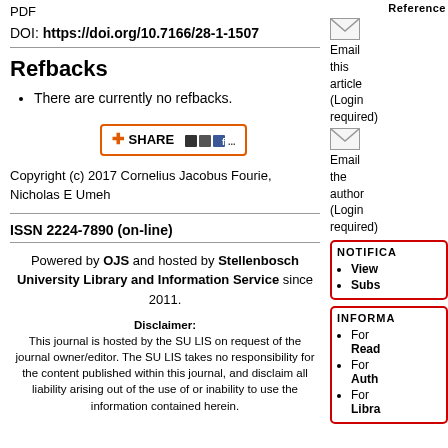PDF
DOI: https://doi.org/10.7166/28-1-1507
Refbacks
There are currently no refbacks.
SHARE
Copyright (c) 2017 Cornelius Jacobus Fourie, Nicholas E Umeh
ISSN 2224-7890 (on-line)
Powered by OJS and hosted by Stellenbosch University Library and Information Service since 2011.
Reference
Email this article (Login required)
Email the author (Login required)
NOTIFICA
View
Subs
INFORMA
For Read
For Auth
For Libra
Disclaimer: This journal is hosted by the SU LIS on request of the journal owner/editor. The SU LIS takes no responsibility for the content published within this journal, and disclaim all liability arising out of the use of or inability to use the information contained herein.